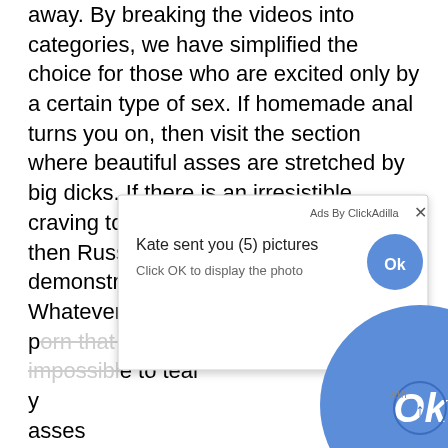away. By breaking the videos into categories, we have simplified the choice for those who are excited only by a certain type of sex. If homemade anal turns you on, then visit the section where beautiful asses are stretched by big dicks. If there is an irresistible craving to see adult women masturbate, then Russian moms are ready to demonstrate the skill of masturbation. Whatever the tastes, there will be such porn that you will review. Because it is impossible to tear y... istic asses... t will have ... exciti... e and w... ad for yours... there ... ral shoot... e Intern... ery day, stay tuned and rate the videos in the section with the
[Figure (screenshot): Ad popup overlay from ClickAdilla showing 'Kate sent you (5) pictures - Click OK to display the photo' with a blue OK button, and a large blue OK button in the center of the page. A scroll-up icon is visible at bottom right with label 'a1h'.]